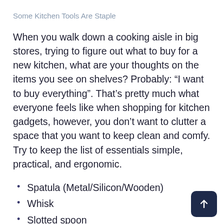Some Kitchen Tools Are Staple
When you walk down a cooking aisle in big stores, trying to figure out what to buy for a new kitchen, what are your thoughts on the items you see on shelves? Probably: “I want to buy everything”. That’s pretty much what everyone feels like when shopping for kitchen gadgets, however, you don’t want to clutter a space that you want to keep clean and comfy. Try to keep the list of essentials simple, practical, and ergonomic.
Spatula (Metal/Silicon/Wooden)
Whisk
Slotted spoon
Kitchen brush